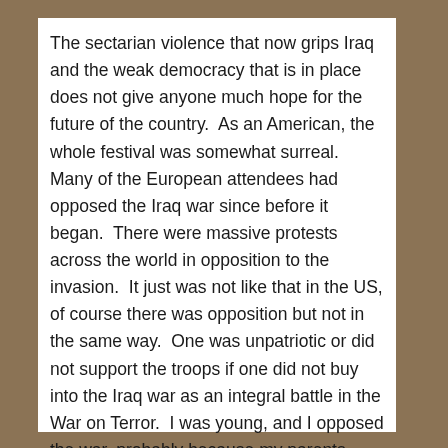The sectarian violence that now grips Iraq and the weak democracy that is in place does not give anyone much hope for the future of the country.  As an American, the whole festival was somewhat surreal.  Many of the European attendees had opposed the Iraq war since before it began.  There were massive protests across the world in opposition to the invasion.  It just was not like that in the US, of course there was opposition but not in the same way.  One was unpatriotic or did not support the troops if one did not buy into the Iraq war as an integral battle in the War on Terror.  I was young, and I opposed the war, probably because my parents opposed it.  Ten years later, though, it does not feel very good to be able to say 'I told you so'.